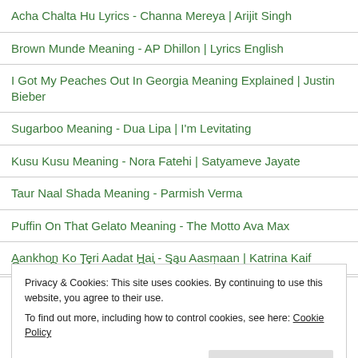Acha Chalta Hu Lyrics - Channa Mereya | Arijit Singh
Brown Munde Meaning - AP Dhillon | Lyrics English
I Got My Peaches Out In Georgia Meaning Explained | Justin Bieber
Sugarboo Meaning - Dua Lipa | I'm Levitating
Kusu Kusu Meaning - Nora Fatehi | Satyameve Jayate
Taur Naal Shada Meaning - Parmish Verma
Puffin On That Gelato Meaning - The Motto Ava Max
Aankhon Ko Teri Aadat Hai - Sau Aasmaan | Katrina Kaif
Ocean Drive Meaning - Duke Mormont
Privacy & Cookies: This site uses cookies. By continuing to use this website, you agree to their use. To find out more, including how to control cookies, see here: Cookie Policy
ENGLISH TOP TRENDS